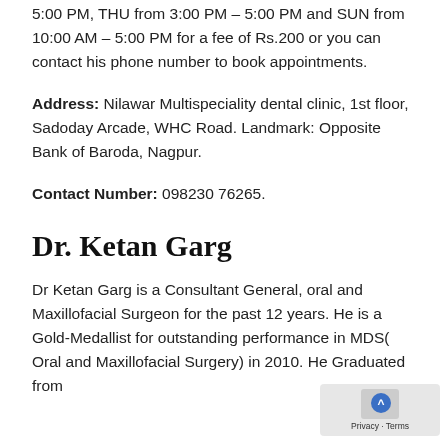5:00 PM, THU from 3:00 PM – 5:00 PM and SUN from 10:00 AM – 5:00 PM for a fee of Rs.200 or you can contact his phone number to book appointments.
Address: Nilawar Multispeciality dental clinic, 1st floor, Sadoday Arcade, WHC Road. Landmark: Opposite Bank of Baroda, Nagpur.
Contact Number: 098230 76265.
Dr. Ketan Garg
Dr Ketan Garg is a Consultant General, oral and Maxillofacial Surgeon for the past 12 years. He is a Gold-Medallist for outstanding performance in MDS( Oral and Maxillofacial Surgery) in 2010. He Graduated from